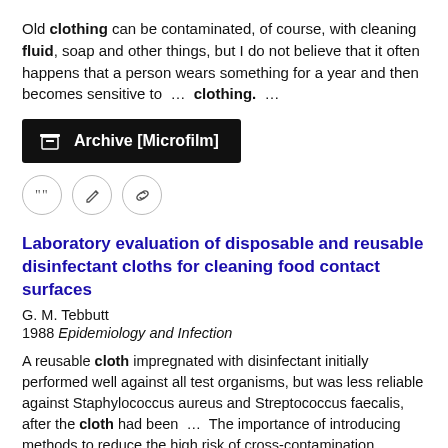Old clothing can be contaminated, of course, with cleaning fluid, soap and other things, but I do not believe that it often happens that a person wears something for a year and then becomes sensitive to …  clothing.  …
[Figure (other): Archive [Microfilm] button with museum/archive icon on black background, followed by a row of three icon buttons (quote, edit, link)]
Laboratory evaluation of disposable and reusable disinfectant cloths for cleaning food contact surfaces
G. M. Tebbutt
1988 Epidemiology and Infection
A reusable cloth impregnated with disinfectant initially performed well against all test organisms, but was less reliable against Staphylococcus aureus and Streptococcus faecalis, after the cloth had been  …  The importance of introducing methods to reduce the high risk of cross-contamination presently associated with the use of wiping cloths in catering premises is stressed.  …  Of E. coli none was recovered, and the counts for Staph. aureus were similar on contact plates and in swab fluids (mean counts 28 for plates and 20 for swabs).